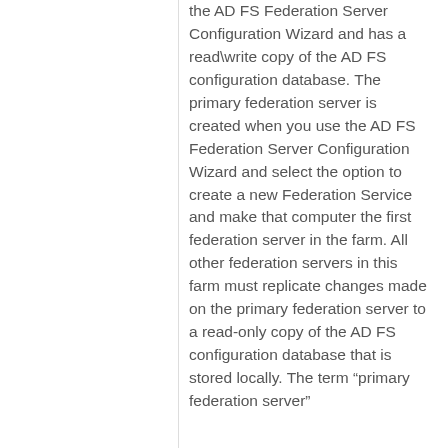the AD FS Federation Server Configuration Wizard and has a read\write copy of the AD FS configuration database. The primary federation server is created when you use the AD FS Federation Server Configuration Wizard and select the option to create a new Federation Service and make that computer the first federation server in the farm. All other federation servers in this farm must replicate changes made on the primary federation server to a read-only copy of the AD FS configuration database that is stored locally. The term “primary federation server”